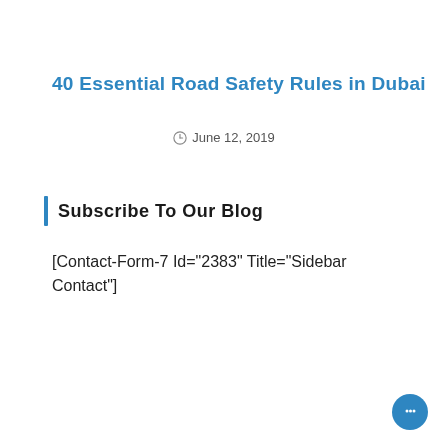40 Essential Road Safety Rules in Dubai
June 12, 2019
Subscribe To Our Blog
[Contact-Form-7 Id="2383" Title="Sidebar Contact"]